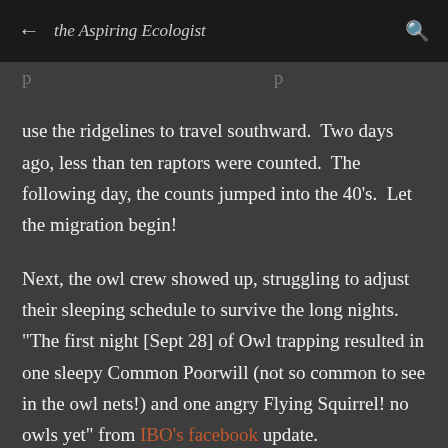the Aspiring Ecologist
use the ridgelines to travel southward.  Two days ago, less than ten raptors were counted.  The following day, the counts jumped into the 40's.  Let the migration begin!

Next, the owl crew showed up, struggling to adjust their sleeping schedule to survive the long nights.  "The first night [Sept 28] of Owl trapping resulted in one sleepy Common Poorwill (not so common to see in the owl nets!) and one angry Flying Squirrel! no owls yet" from IBO's facebook update.